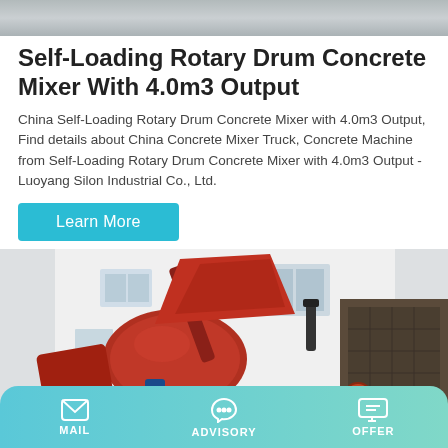[Figure (photo): Top partial banner image showing a concrete mixer scene]
Self-Loading Rotary Drum Concrete Mixer With 4.0m3 Output
China Self-Loading Rotary Drum Concrete Mixer with 4.0m3 Output, Find details about China Concrete Mixer Truck, Concrete Machine from Self-Loading Rotary Drum Concrete Mixer with 4.0m3 Output - Luoyang Silon Industrial Co., Ltd.
[Figure (other): Learn More button (teal/cyan colored call-to-action button)]
[Figure (photo): Photo of a red self-loading rotary drum concrete mixer machine with hopper raised, parked outside a white building]
MAIL   ADVISORY   OFFER